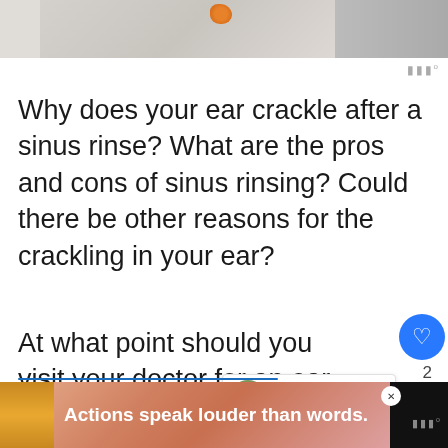[Figure (photo): Partial top image, cropped view of a scene with autumn/orange decorative element]
Why does your ear crackle after a sinus rinse? What are the pros and cons of sinus rinsing? Could there be other reasons for the crackling in your ear?
At what point should you visit your doctor for an ear crackle? How can you do a proper sinus rinse? Are there any alternatives to sinus rinsing?
WHAT'S NEXT → Why Do I Have A Dent In My...